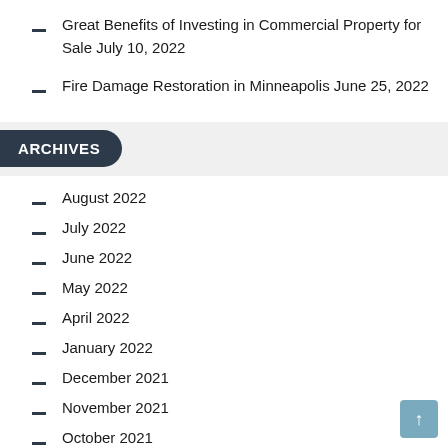Great Benefits of Investing in Commercial Property for Sale July 10, 2022
Fire Damage Restoration in Minneapolis June 25, 2022
ARCHIVES
August 2022
July 2022
June 2022
May 2022
April 2022
January 2022
December 2021
November 2021
October 2021